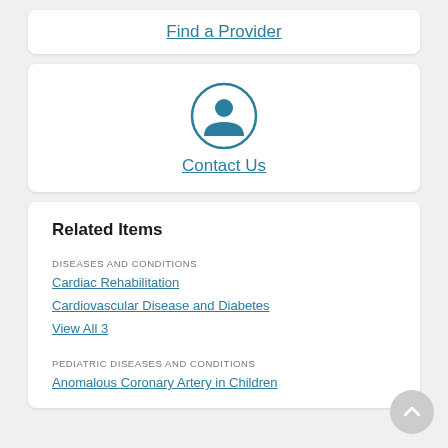Find a Provider
[Figure (illustration): Circular icon with a person/contact silhouette inside, teal border]
Contact Us
Related Items
DISEASES AND CONDITIONS
Cardiac Rehabilitation
Cardiovascular Disease and Diabetes
View All 3
PEDIATRIC DISEASES AND CONDITIONS
Anomalous Coronary Artery in Children